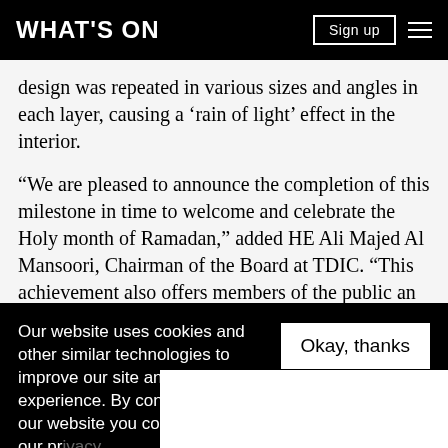WHAT'S ON
design was repeated in various sizes and angles in each layer, causing a ‘rain of light’ effect in the interior.
“We are pleased to announce the completion of this milestone in time to welcome and celebrate the Holy month of Ramadan,” added HE Ali Majed Al Mansoori, Chairman of the Board at TDIC. “This achievement also offers members of the public an opportunity to witness the great strides taken in the museum’s construction and observe the dome’s intricate cladding pattern, giving them a hint of the wonder
Our website uses cookies and other similar technologies to improve our site and your online experience. By continuing to use our website you consent our pr